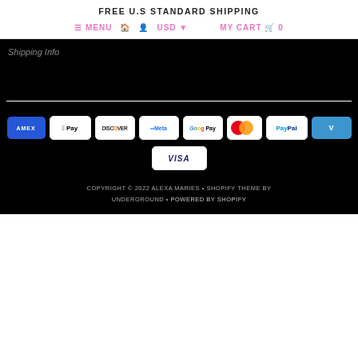FREE U.S STANDARD SHIPPING
≡ MENU  🏠  👤  USD ▾  MY CART 🛒 0
Shipping Info
[Figure (other): Payment method badges: Amex, Apple Pay, Discover, Meta Pay, Google Pay, Mastercard, PayPal, Venmo, Visa]
COPYRIGHT © 2022 ALEXA MARIES • SHOPIFY THEME BY UNDERGROUND • POWERED BY SHOPIFY